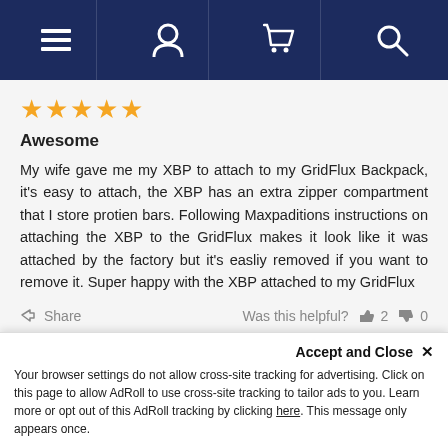[Figure (screenshot): Dark navy navigation bar with hamburger menu, user profile icon, shopping bag icon, and search icon]
[Figure (other): Four yellow star rating icons]
Awesome
My wife gave me my XBP to attach to my GridFlux Backpack, it's easy to attach, the XBP has an extra zipper compartment that I store protien bars. Following Maxpaditions instructions on attaching the XBP to the GridFlux makes it look like it was attached by the factory but it's easliy removed if you want to remove it. Super happy with the XBP attached to my GridFlux
Share  Was this helpful?  2  0
Christopher W.  Verified Buyer  10/05/2018
United States
Accept and Close ×
Your browser settings do not allow cross-site tracking for advertising. Click on this page to allow AdRoll to use cross-site tracking to tailor ads to you. Learn more or opt out of this AdRoll tracking by clicking here. This message only appears once.